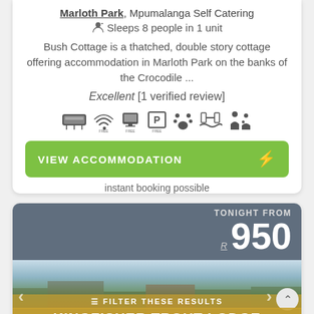Marloth Park, Mpumalanga Self Catering
Sleeps 8 people in 1 unit
Bush Cottage is a thatched, double story cottage offering accommodation in Marloth Park on the banks of the Crocodile ...
Excellent [1 verified review]
[Figure (infographic): Row of amenity icons: air conditioning, free wifi, free TV/internet, free parking, pets, pool, family-friendly]
VIEW ACCOMMODATION
instant booking possible
TONIGHT FROM R 950
[Figure (photo): Autumn landscape with trees and buildings near a lake]
FILTER THESE RESULTS
KINGFISHER TROUT LODGE